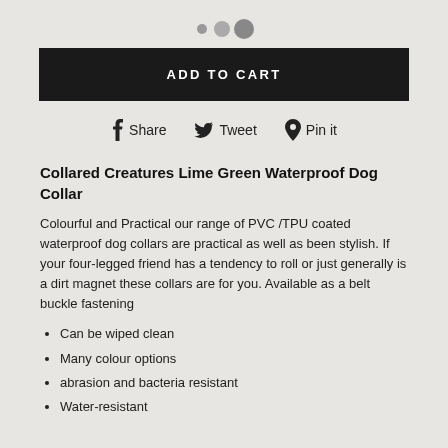[Figure (other): Three pagination/indicator dots in a row: small, medium, large, in shades of gray]
ADD TO CART
Share  Tweet  Pin it
Collared Creatures Lime Green Waterproof Dog Collar
Colourful and Practical our range of PVC /TPU coated waterproof dog collars are practical as well as been stylish. If your four-legged friend has a tendency to roll or just generally is a dirt magnet these collars are for you. Available as a belt buckle fastening
Can be wiped clean
Many colour options
abrasion and bacteria resistant
Water-resistant